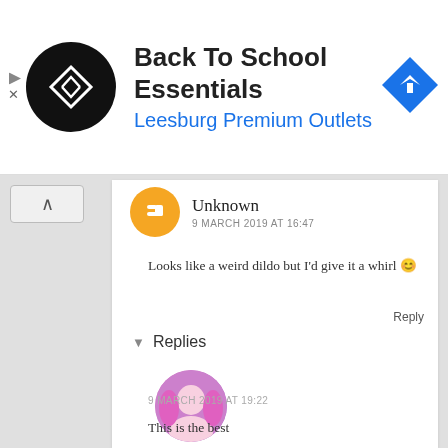[Figure (screenshot): Advertisement banner for Back To School Essentials at Leesburg Premium Outlets. Shows a black circular logo with diamond arrows, the store name in bold black text, subtitle in blue, and a blue navigation diamond icon on the right.]
Unknown
9 MARCH 2019 AT 16:47
Looks like a weird dildo but I'd give it a whirl 😊
Reply
Replies
[Figure (photo): Circular avatar photo of a person with pink hair]
Mumma And Her Monsters
9 MARCH 2019 AT 19:22
This is the best